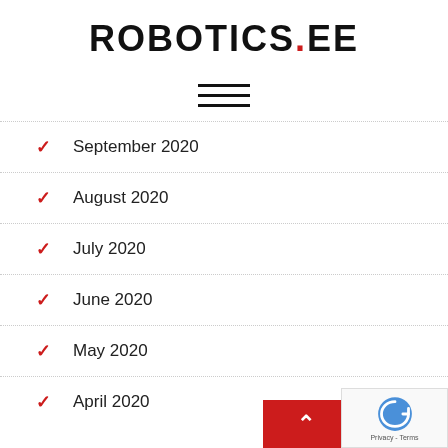ROBOTICS.EE
[Figure (other): Hamburger menu icon with three horizontal lines]
September 2020
August 2020
July 2020
June 2020
May 2020
April 2020